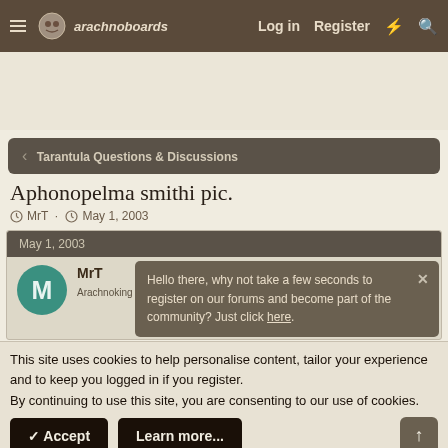arachnoboards — Log in   Register
Tarantula Questions & Discussions
Aphonopelma smithi pic.
MrT · May 1, 2003
May 1, 2003
MrT
Arachnoking   Old Timer
Hello there, why not take a few seconds to register on our forums and become part of the community? Just click here.
This site uses cookies to help personalise content, tailor your experience and to keep you logged in if you register.
By continuing to use this site, you are consenting to our use of cookies.
✓ Accept   Learn more...